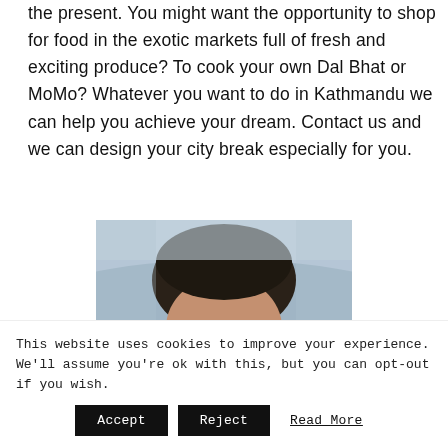the present. You might want the opportunity to shop for food in the exotic markets full of fresh and exciting produce? To cook your own Dal Bhat or MoMo? Whatever you want to do in Kathmandu we can help you achieve your dream. Contact us and we can design your city break especially for you.
[Figure (photo): Partial photo of a person's head/face with a blurred outdoor background]
This website uses cookies to improve your experience. We'll assume you're ok with this, but you can opt-out if you wish.